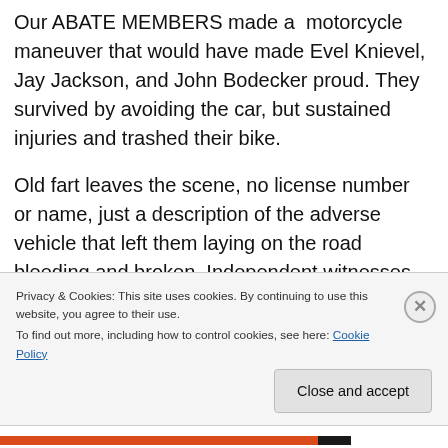Our ABATE MEMBERS made a motorcycle maneuver that would have made Evel Knievel, Jay Jackson, and John Bodecker proud. They survived by avoiding the car, but sustained injuries and trashed their bike.
Old fart leaves the scene, no license number or name, just a description of the adverse vehicle that left them laying on the road bleeding and broken. Independent witnesses confirmed the above. So what does the darling of
Privacy & Cookies: This site uses cookies. By continuing to use this website, you agree to their use.
To find out more, including how to control cookies, see here: Cookie Policy